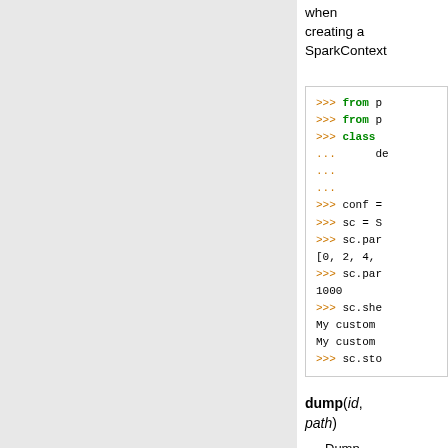when creating a SparkContext
[Figure (screenshot): Code block showing Python interactive session with >>> prompts in orange, keywords in green, and output lines in black. Contains lines: >>> from p, >>> from p, >>> class, ...        de, ..., ..., >>> conf =, >>> sc = S, >>> sc.par, [0, 2, 4,, >>> sc.par, 1000, >>> sc.sh, My custom, My custom, >>> sc.st]
dump(id, path)

Dump the